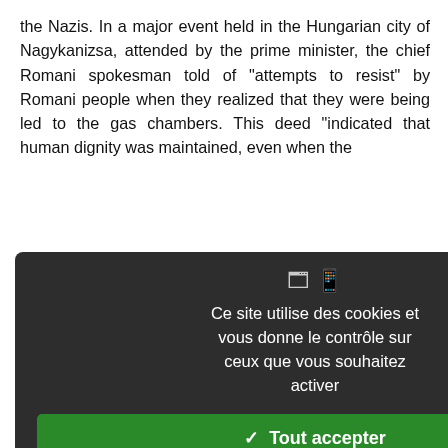the Nazis. In a major event held in the Hungarian city of Nagykanizsa, attended by the prime minister, the chief Romani spokesman told of "attempts to resist" by Romani people when they realized that they were being led to the gas chambers. This deed "indicated that human dignity was maintained, even when the
sistance] for the future, to be dom, our lives. Our mourning to the present and the future, aise its head again. 36
memory tied to the physical bolism with a public debate n—whose imagery is much —is on the site of what the d' and a 'World War II ma were interned in the Lety d because of the terrible c. Those who survived were extermination camps. Since s and set up by the Czech ed a debate on the issue of
[Figure (screenshot): Cookie consent dialog overlay with dark background. Title: 'Ce site utilise des cookies et vous donne le contrôle sur ceux que vous souhaitez activer'. Three buttons: green 'Tout accepter', red 'Tout refuser', white 'Personnaliser'. Link: 'Politique de confidentialité'.]